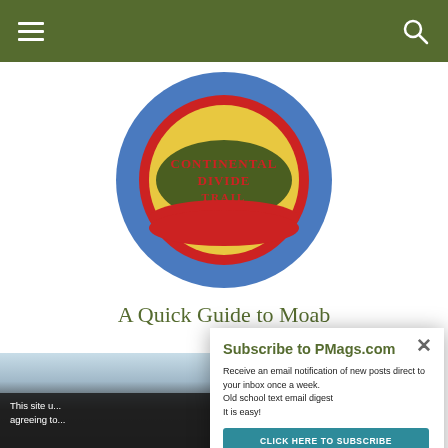navigation bar with hamburger menu and search icon
[Figure (photo): Close-up of a Continental Divide Trail emblem/badge on a blue and red circular object]
A Quick Guide to Moab
[Figure (photo): Partial landscape/outdoor photo, partially obscured by popup modal]
This site u... agreeing to...
Subscribe to PMags.com
Receive an email notification of new posts direct to your inbox once a week.
Old school text email digest
It is easy!
CLICK HERE TO SUBSCRIBE